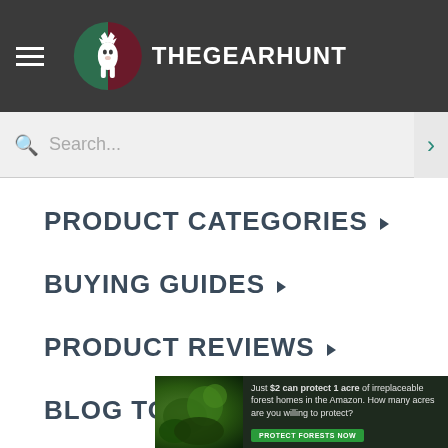THEGEARHUNT
Search...
PRODUCT CATEGORIES
BUYING GUIDES
PRODUCT REVIEWS
BLOG TOPICS
[Figure (infographic): Advertisement banner: Just $2 can protect 1 acre of irreplaceable forest homes in the Amazon. How many acres are you willing to protect? PROTECT FORESTS NOW]